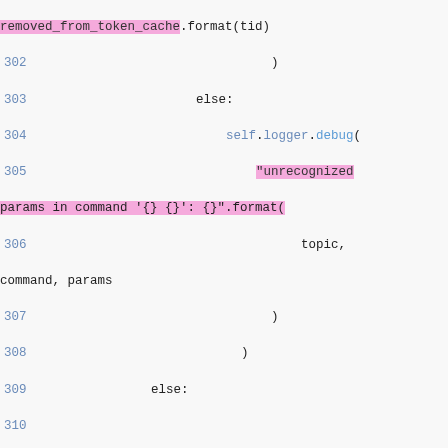Source code listing lines 302-317, Python code for token cache and logger handling